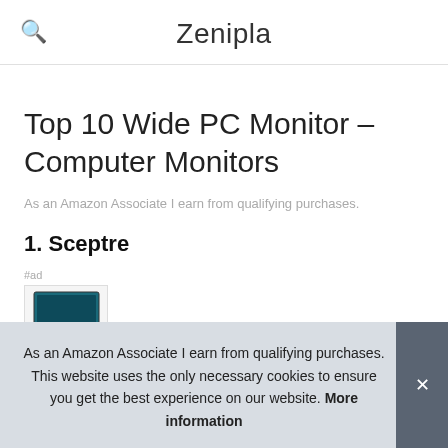Zenipla
Top 10 Wide PC Monitor – Computer Monitors
As an Amazon Associate I earn from qualifying purchases.
1. Sceptre
#ad
As an Amazon Associate I earn from qualifying purchases. This website uses the only necessary cookies to ensure you get the best experience on our website. More information